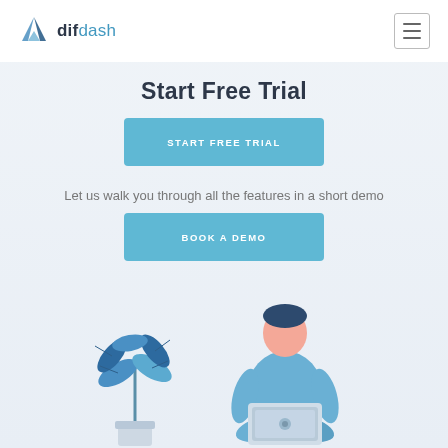difdash
Start Free Trial
START FREE TRIAL
Let us walk you through all the features in a short demo
BOOK A DEMO
[Figure (illustration): Flat illustration of a person sitting cross-legged working on a laptop, with a large tropical plant beside them. Blue and light blue color scheme.]